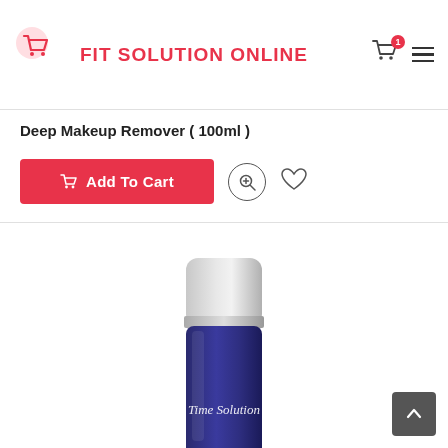FIT SOLUTION ONLINE
Deep Makeup Remover ( 100ml )
Add To Cart
[Figure (photo): Product bottle of Time Solution deep makeup remover, 100ml, with a silver cap and dark blue body with brand name in script lettering]